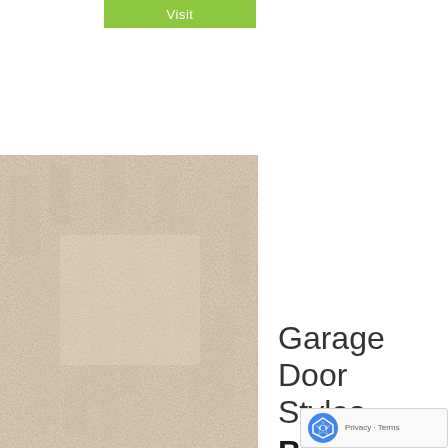Visit
[Figure (photo): Close-up photo of a textured light beige/cream garage door panel surface with subtle grain pattern]
Garage Door Styles Byfleet, Surrey